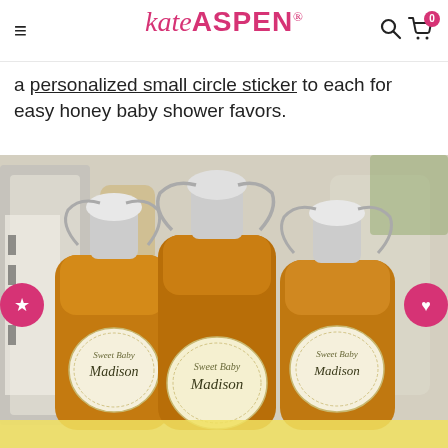Kate Aspen
a personalized small circle sticker to each for easy honey baby shower favors.
[Figure (photo): Three small glass swing-top bottles filled with honey/amber liquid, each labeled with a round 'Sweet Baby Madison' personalized sticker. The bottles are displayed on a table with blurred background items. Two pink circle icon buttons (star and heart) appear on the left and right edges of the photo.]